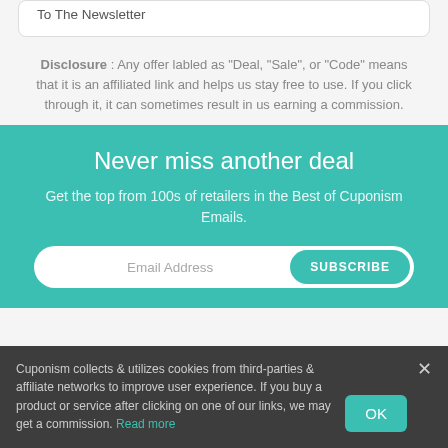To The Newsletter
Disclosure: Any offer labled as "Deal, "Sale", or "Code" means that it is an affiliated link and helps us stay free to use. If you click through it, it can sometimes result in us earning a commission.
Never miss another deal
Get the top from 100s of retailers in the Best of Cuponism Emails.
Email Address  SUBSCRIBE
Cuponism collects & utilizes cookies from third-parties & affiliate networks to improve user experience. If you buy a product or service after clicking on one of our links, we may get a commission. Read more